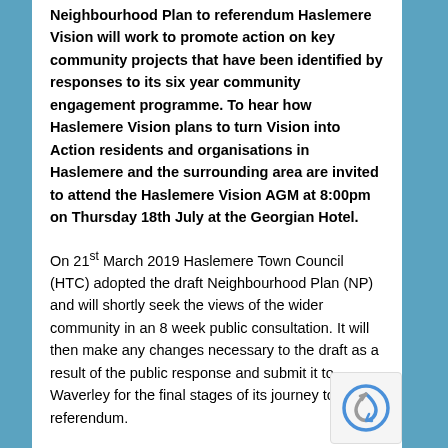Neighbourhood Plan to referendum Haslemere Vision will work to promote action on key community projects that have been identified by responses to its six year community engagement programme. To hear how Haslemere Vision plans to turn Vision into Action residents and organisations in Haslemere and the surrounding area are invited to attend the Haslemere Vision AGM at 8:00pm on Thursday 18th July at the Georgian Hotel.
On 21st March 2019 Haslemere Town Council (HTC) adopted the draft Neighbourhood Plan (NP) and will shortly seek the views of the wider community in an 8 week public consultation. It will then make any changes necessary to the draft as a result of the public response and submit it to Waverley for the final stages of its journey to referendum.
A small Haslemere Vision team will continue to support HTC through the remainder of the NP process but its main focus will turn to stimulating and working with all stakeholders to facilitate action on projects, identified in